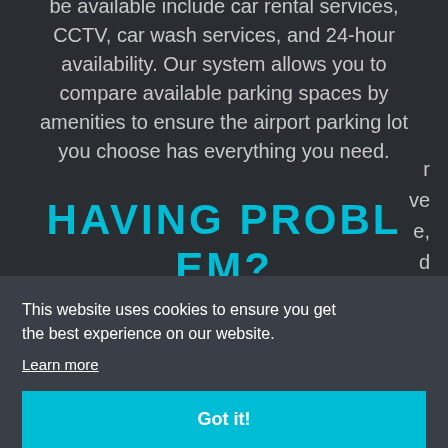be available include car rental services, CCTV, car wash services, and 24-hour availability. Our system allows you to compare available parking spaces by amenities to ensure the airport parking lot you choose has everything you need.
HAVING PROBLEM?
This website uses cookies to ensure you get the best experience on our website.
Learn more
Got it!
Our system immediately calculates the cost.